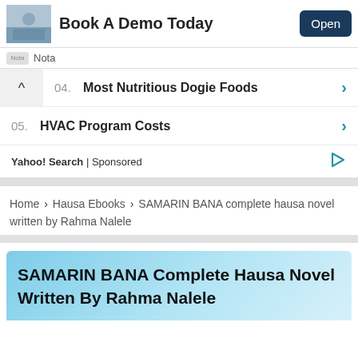[Figure (screenshot): Ad banner with photo of person at desk, text 'Book A Demo Today' and 'Open' button]
Nota
04.  Most Nutritious Dogie Foods
05.  HVAC Program Costs
Yahoo! Search | Sponsored
Home › Hausa Ebooks › SAMARIN BANA complete hausa novel written by Rahma Nalele
SAMARIN BANA Complete Hausa Novel Written By Rahma Nalele